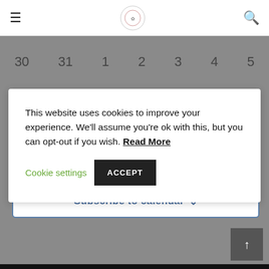Navigation bar with hamburger menu, logo, and search icon
30  31  1  2  3  4  5
This website uses cookies to improve your experience. We'll assume you're ok with this, but you can opt-out if you wish. Read More  Cookie settings  ACCEPT
Subscribe to calendar ∨
[Figure (other): Back to top arrow button (dark gray square with white upward arrow)]